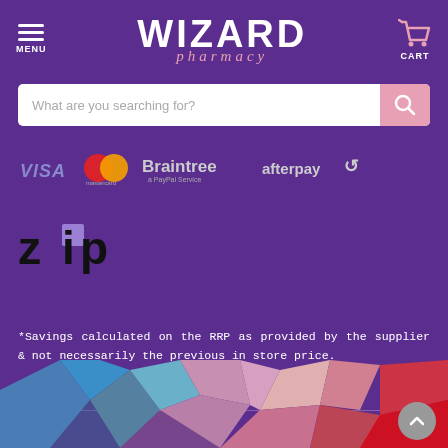WIZARD pharmacy
What are you searching for?
[Figure (logo): Payment method logos: VISA, Mastercard, Braintree (a PayPal Service), Afterpay]
[Figure (logo): Zip payment logo]
*Savings calculated on the RRP as provided by the supplier & not necessarily the previous in store price.
[Figure (illustration): Colorful low-poly geometric background art in blues, pinks, and reds at the bottom of the page]